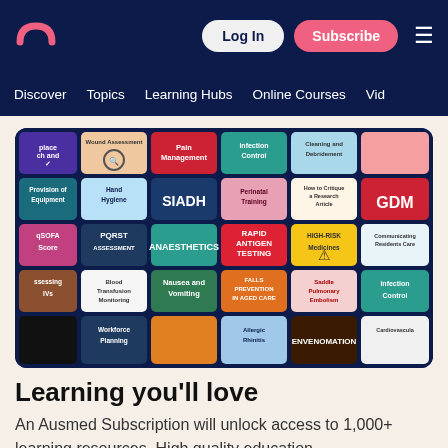[Figure (screenshot): Ausmed website top navigation bar with logo, Log In button, Subscribe button, and hamburger menu on dark navy background]
Discover   Topics   Learning Hubs   Online Courses   Vid
[Figure (illustration): Mosaic grid of medical education topic tiles including Pain Management, SIADH, Hand Hygiene, PQRST Assessment, Anaesthetics, Rapid Antigen Testing, Nausea and Vomiting, Falls Prevention in Aged Care, Saddle Pulmonary Embolism, Infection Control, Perinatal Training, High-Risk Medicines, Blood Transfusion Monitoring, Workforce Planning, Allergic Rhinitis, Envenomation, Cardiovascular, and others]
Learning you'll love
An Ausmed Subscription will unlock access to 1,000+ learning resources. High quality education